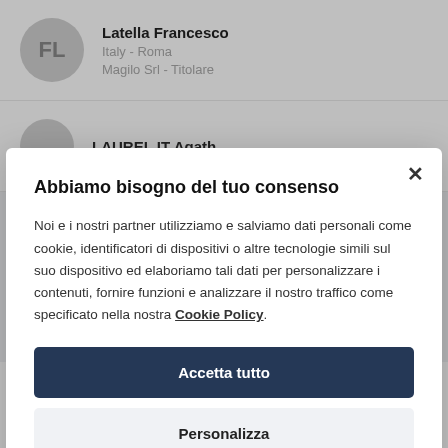FL
Latella Francesco
Italy - Roma
Magilo Srl - Titolare
LAUREL IT Agath...
Abbiamo bisogno del tuo consenso
Noi e i nostri partner utilizziamo e salviamo dati personali come cookie, identificatori di dispositivi o altre tecnologie simili sul suo dispositivo ed elaboriamo tali dati per personalizzare i contenuti, fornire funzioni e analizzare il nostro traffico come specificato nella nostra Cookie Policy.
Accetta tutto
Personalizza
Lella Federico